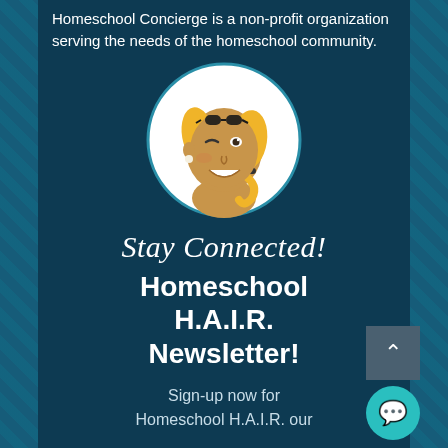Homeschool Concierge is a non-profit organization serving the needs of the homeschool community.
[Figure (illustration): Circular logo/mascot illustration of a smiling woman with blonde hair, dark skin, winking, wearing black sunglasses on her head, set inside a white circle with teal border]
Stay Connected!
Homeschool H.A.I.R. Newsletter!
Sign-up now for Homeschool H.A.I.R. our